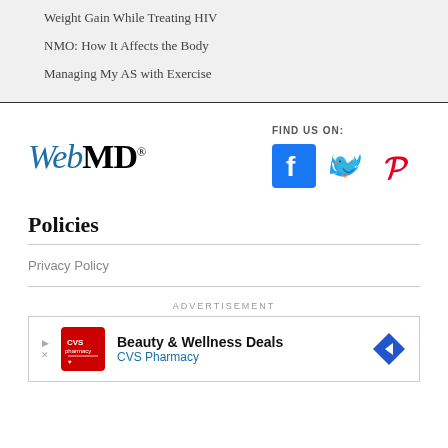Weight Gain While Treating HIV
NMO: How It Affects the Body
Managing My AS with Exercise
[Figure (logo): WebMD logo in italic blue 'Web' and bold black 'MD' with registered trademark symbol]
FIND US ON:
[Figure (infographic): Social media icons: Facebook (blue), Twitter (cyan), Pinterest (red)]
Policies
Privacy Policy
ADVERTISEMENT
[Figure (screenshot): CVS Pharmacy advertisement banner: red CVS logo, 'Beauty & Wellness Deals' headline, 'CVS Pharmacy' subtext, blue diamond navigation arrow]